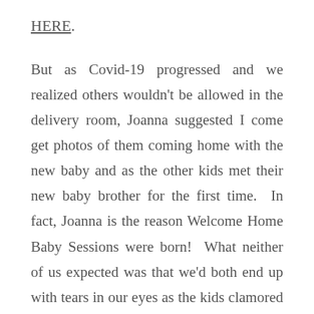HERE.
But as Covid-19 progressed and we realized others wouldn't be allowed in the delivery room, Joanna suggested I come get photos of them coming home with the new baby and as the other kids met their new baby brother for the first time.  In fact, Joanna is the reason Welcome Home Baby Sessions were born!  What neither of us expected was that we'd both end up with tears in our eyes as the kids clamored into the truck to see baby